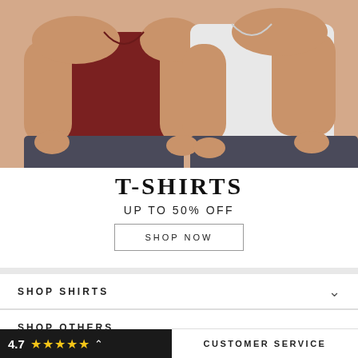[Figure (photo): Two men wearing t-shirts, one in dark maroon/burgundy and one in white/light grey, posing with hands in pockets, cropped to show torso and arms only.]
T-SHIRTS
UP TO 50% OFF
SHOP NOW
SHOP SHIRTS
SHOP OTHERS
4.7 ★★★★★
CUSTOMER SERVICE